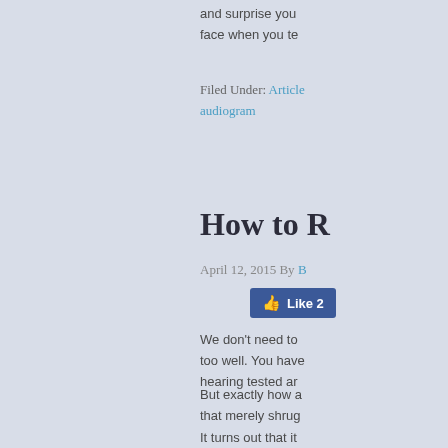and surprise your face when you te
Filed Under: Articles audiogram
How to R
April 12, 2015 By B
[Figure (other): Facebook Like button showing 'Like 2']
We don't need to too well. You have hearing tested ar
But exactly how a that merely shrug
It turns out that it won't see the nee approaches.
While it may seer